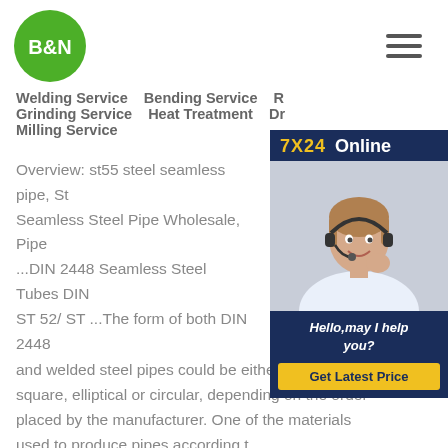B&N logo and hamburger menu
Welding Service   Bending Service   R...
Grinding Service   Heat Treatment   Dr...
Milling Service
[Figure (photo): 7X24 Online customer service widget with photo of female agent with headset, Hello may I help you text, and Get Latest Price button]
Overview: st55 steel seamless pipe, St... Seamless Steel Pipe Wholesale, Pipe ...DIN 2448 Seamless Steel Tubes DIN... ST 52/ ST ...The form of both DIN 2448... and welded steel pipes could be either rectangle, square, elliptical or circular, depending on the order placed by the manufacturer. One of the materials used to produce pipes according t...
F...